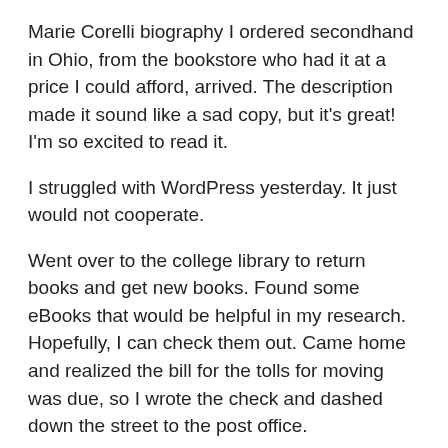Marie Corelli biography I ordered secondhand in Ohio, from the bookstore who had it at a price I could afford, arrived. The description made it sound like a sad copy, but it's great! I'm so excited to read it.
I struggled with WordPress yesterday. It just would not cooperate.
Went over to the college library to return books and get new books. Found some eBooks that would be helpful in my research. Hopefully, I can check them out. Came home and realized the bill for the tolls for moving was due, so I wrote the check and dashed down the street to the post office.
On this walk, it was the first time the warning bells went off in regard to another pedestrian. A guy a few yards ahead